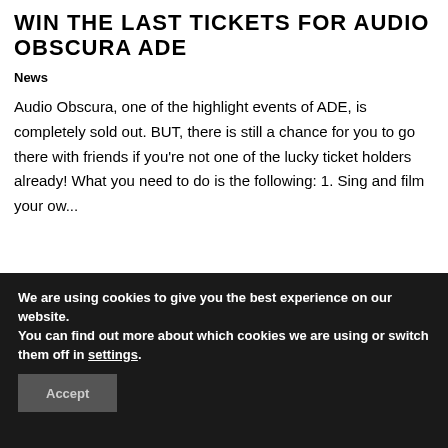WIN The Last Tickets For Audio Obscura ADE
News
Audio Obscura, one of the highlight events of ADE, is completely sold out. BUT, there is still a chance for you to go there with friends if you're not one of the lucky ticket holders already! What you need to do is the following: 1. Sing and film your ow...
[Figure (photo): Black and white photo of a man's face against a decorative floral wallpaper pattern background]
We are using cookies to give you the best experience on our website.
You can find out more about which cookies we are using or switch them off in settings.
Accept